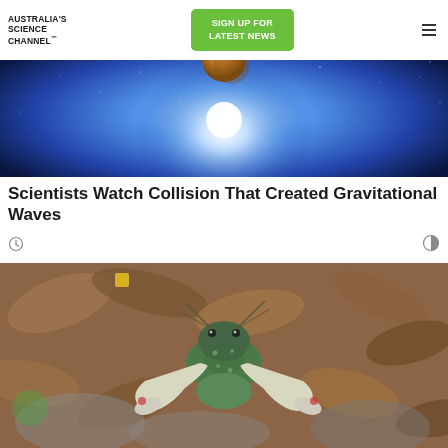AUSTRALIA'S SCIENCE CHANNEL™
SIGN UP FOR LATEST NEWS
[Figure (photo): Space scene showing a bright glowing light source with a planet/moon above, stars in background, on a deep blue cosmic background]
Scientists Watch Collision That Created Gravitational Waves
[Figure (photo): Close-up photograph of a crayfish or freshwater lobster with large white claws, green spotted body, on a rocky leaf-covered river bottom]